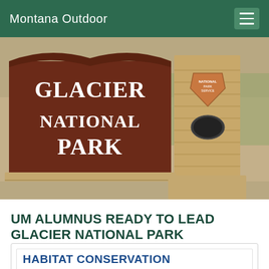Montana Outdoor
[Figure (photo): Entrance sign for Glacier National Park — a large dark wood sign with white carved letters reading 'GLACIER NATIONAL PARK', mounted on a stone base. To the right is a stone pillar bearing the National Park Service arrowhead emblem.]
UM ALUMNUS READY TO LEAD GLACIER NATIONAL PARK
HABITAT CONSERVATION